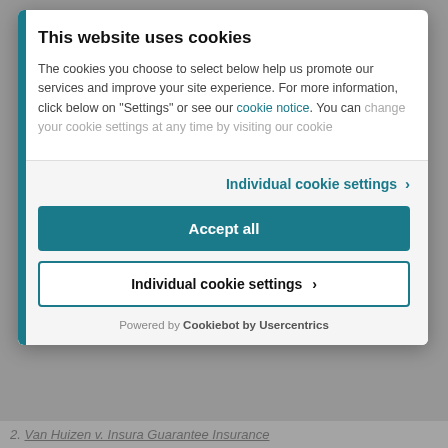This website uses cookies
The cookies you choose to select below help us promote our services and improve your site experience. For more information, click below on "Settings" or see our cookie notice. You can change your cookie settings at any time by visiting our cookie
Individual cookie settings ›
Accept all
Individual cookie settings ›
Powered by Cookiebot by Usercentrics
2. Van Huizen v. Insura Guarantee Insurance